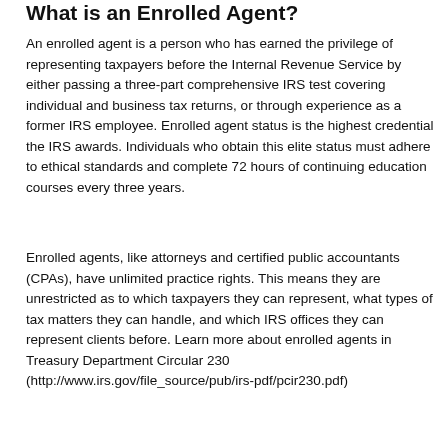What is an Enrolled Agent?
An enrolled agent is a person who has earned the privilege of representing taxpayers before the Internal Revenue Service by either passing a three-part comprehensive IRS test covering individual and business tax returns, or through experience as a former IRS employee. Enrolled agent status is the highest credential the IRS awards. Individuals who obtain this elite status must adhere to ethical standards and complete 72 hours of continuing education courses every three years.
Enrolled agents, like attorneys and certified public accountants (CPAs), have unlimited practice rights. This means they are unrestricted as to which taxpayers they can represent, what types of tax matters they can handle, and which IRS offices they can represent clients before. Learn more about enrolled agents in Treasury Department Circular 230 (http://www.irs.gov/file_source/pub/irs-pdf/pcir230.pdf)